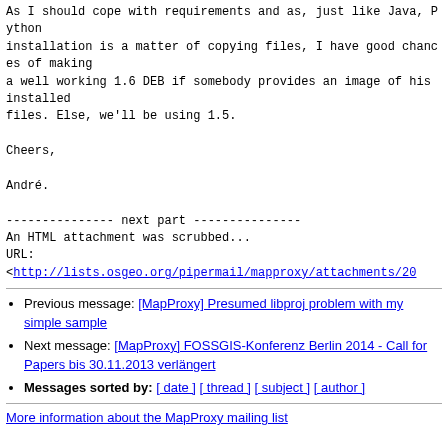As I should cope with requirements and as, just like Java, Python
installation is a matter of copying files, I have good chances of making
a well working 1.6 DEB if somebody provides an image of his installed
files. Else, we'll be using 1.5.

Cheers,

André.
--------------- next part ---------------
An HTML attachment was scrubbed...
URL:
<http://lists.osgeo.org/pipermail/mapproxy/attachments/20...
Previous message: [MapProxy] Presumed libproj problem with my simple sample
Next message: [MapProxy] FOSSGIS-Konferenz Berlin 2014 - Call for Papers bis 30.11.2013 verlängert
Messages sorted by: [ date ] [ thread ] [ subject ] [ author ]
More information about the MapProxy mailing list